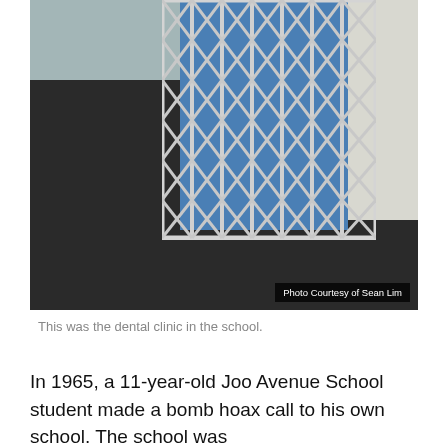[Figure (photo): A photograph of a dental clinic entrance in a school, showing a blue door with a white expandable metal security gate/grille in front of it, set in a dark concrete hallway. Photo credit reads 'Photo Courtesy of Sean Lim'.]
This was the dental clinic in the school.
In 1965, a 11-year-old Joo Avenue School student made a bomb hoax call to his own school. The school was